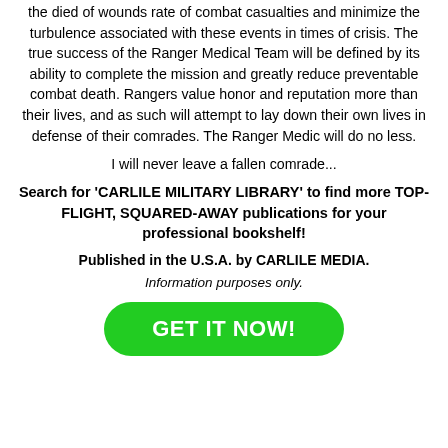the died of wounds rate of combat casualties and minimize the turbulence associated with these events in times of crisis. The true success of the Ranger Medical Team will be defined by its ability to complete the mission and greatly reduce preventable combat death. Rangers value honor and reputation more than their lives, and as such will attempt to lay down their own lives in defense of their comrades. The Ranger Medic will do no less.
I will never leave a fallen comrade...
Search for 'CARLILE MILITARY LIBRARY' to find more TOP-FLIGHT, SQUARED-AWAY publications for your professional bookshelf!
Published in the U.S.A. by CARLILE MEDIA.
Information purposes only.
[Figure (other): Green rounded rectangle button with bold white text reading 'GET IT NOW!']